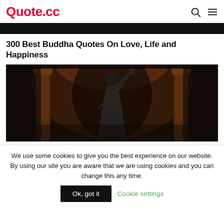Quote.cc
300 Best Buddha Quotes On Love, Life and Happiness
[Figure (photo): Dark photograph of a religious statue with raised arm, set against ornate architectural columns and arches in dark brown tones]
We use some cookies to give you the best experience on our website. By using our site you are aware that we are using cookies and you can change this any time.
Ok, got it
Cookie settings